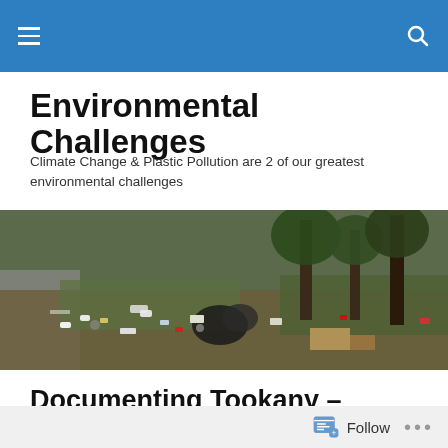Environmental Challenges blog header with hamburger menu and search icon
Environmental Challenges
Climate Change & Plastic Pollution are 2 of our greatest environmental challenges
[Figure (photo): Panoramic photo of litter and trash scattered along a roadside or creek bank with debris including plastic bags, bottles, and miscellaneous trash among trees and grass]
Documenting Tookany – Tacony Creek Trash
4 at Documenting from...addits from 2014b
Follow ...